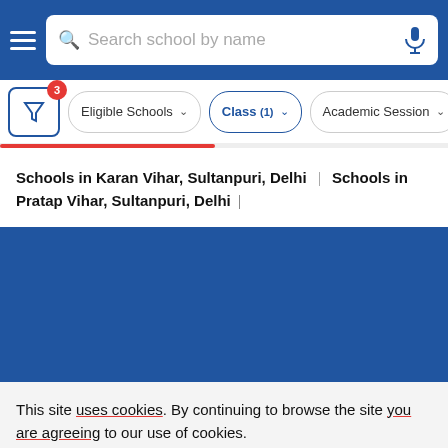Search school by name
Eligible Schools | Class (1) | Academic Session
Schools in Karan Vihar, Sultanpuri, Delhi | Schools in Pratap Vihar, Sultanpuri, Delhi
[Figure (screenshot): Blue banner advertisement area]
This site uses cookies. By continuing to browse the site you are agreeing to our use of cookies.
This will help to provide better user experience.
Ok, I Understand